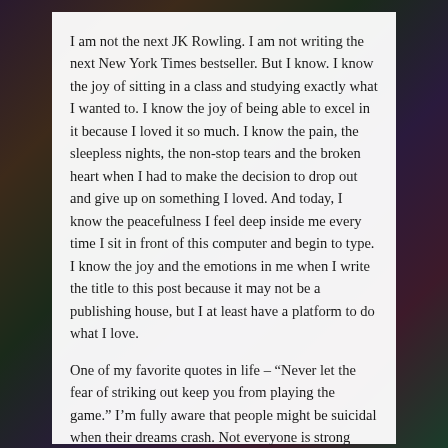I am not the next JK Rowling. I am not writing the next New York Times bestseller. But I know. I know the joy of sitting in a class and studying exactly what I wanted to. I know the joy of being able to excel in it because I loved it so much. I know the pain, the sleepless nights, the non-stop tears and the broken heart when I had to make the decision to drop out and give up on something I loved. And today, I know the peacefulness I feel deep inside me every time I sit in front of this computer and begin to type. I know the joy and the emotions in me when I write the title to this post because it may not be a publishing house, but I at least have a platform to do what I love.
One of my favorite quotes in life – "Never let the fear of striking out keep you from playing the game." I'm fully aware that people might be suicidal when their dreams crash. Not everyone is strong inside. And I don't have an